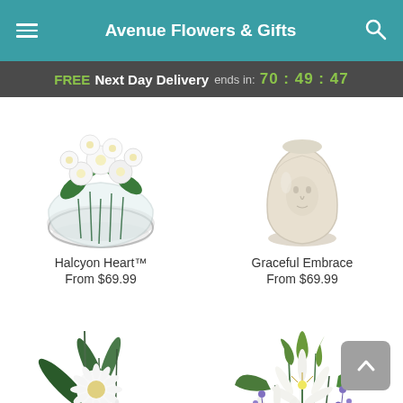Avenue Flowers & Gifts
FREE Next Day Delivery ends in: 70:49:47
[Figure (photo): White flowers in a glass bowl vase - Halcyon Heart]
Halcyon Heart™
From $69.99
[Figure (photo): Cream/white ceramic vase - Graceful Embrace]
Graceful Embrace
From $69.99
[Figure (photo): White gerbera daisies with green foliage arrangement]
[Figure (photo): White lilies with purple flowers and green leaves in tall glass vase]